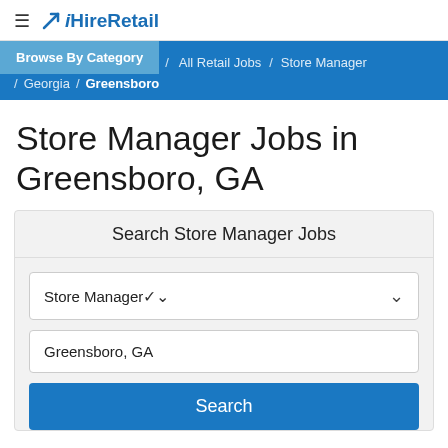≡ ✕ iHireRetail
Browse By Category / All Retail Jobs / Store Manager / Georgia / Greensboro
Store Manager Jobs in Greensboro, GA
Search Store Manager Jobs
Store Manager
Greensboro, GA
Search